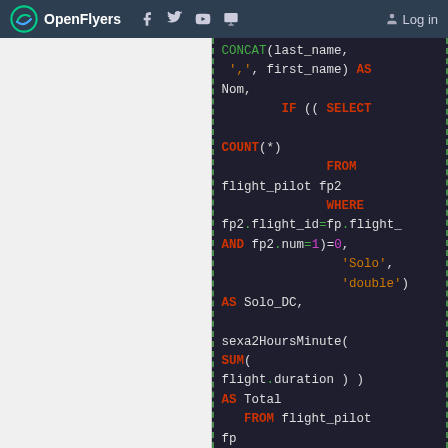OpenFlyers | Log in
[Figure (screenshot): SQL code snippet showing a query with CONCAT, IF, SELECT, COUNT, FROM, WHERE, AND, SUM, LEFT JOIN keywords in a dark-themed code editor on the OpenFlyers website.]